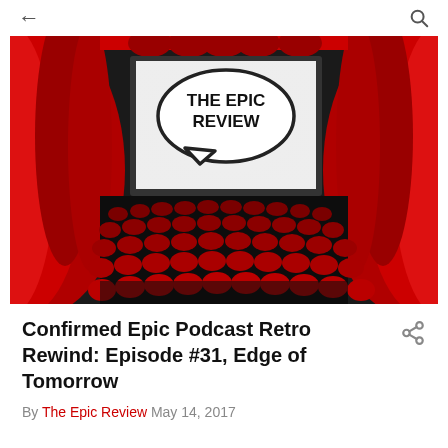← [back] [search]
[Figure (photo): Cinema theater image with red curtains on the sides, dark movie theater seats in the lower half, and a large white projection screen in the upper center displaying a speech bubble logo with the text 'THE EPIC REVIEW' in bold black letters.]
Confirmed Epic Podcast Retro Rewind: Episode #31, Edge of Tomorrow
By The Epic Review May 14, 2017